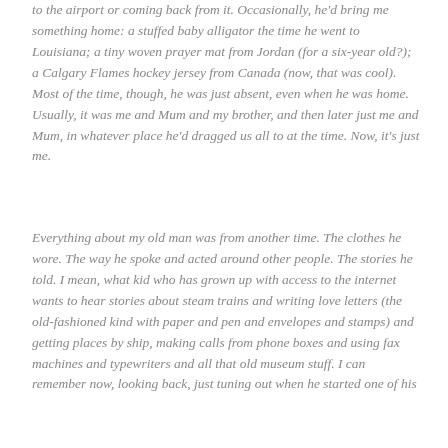to the airport or coming back from it. Occasionally, he'd bring me something home: a stuffed baby alligator the time he went to Louisiana; a tiny woven prayer mat from Jordan (for a six-year old?); a Calgary Flames hockey jersey from Canada (now, that was cool). Most of the time, though, he was just absent, even when he was home. Usually, it was me and Mum and my brother, and then later just me and Mum, in whatever place he'd dragged us all to at the time. Now, it's just me.
Everything about my old man was from another time. The clothes he wore. The way he spoke and acted around other people. The stories he told. I mean, what kid who has grown up with access to the internet wants to hear stories about steam trains and writing love letters (the old-fashioned kind with paper and pen and envelopes and stamps) and getting places by ship, making calls from phone boxes and using fax machines and typewriters and all that old museum stuff. I can remember now, looking back, just tuning out when he started one of his